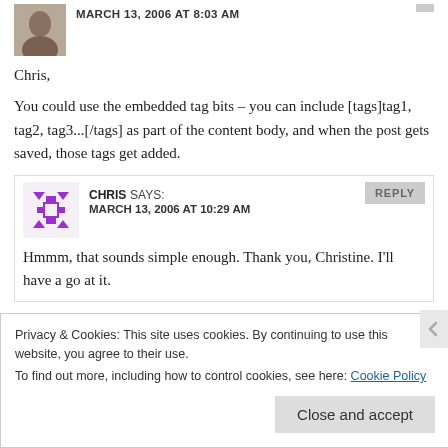MARCH 13, 2006 AT 8:03 AM
Chris,

You could use the embedded tag bits – you can include [tags]tag1, tag2, tag3...[/tags] as part of the content body, and when the post gets saved, those tags get added.
CHRIS SAYS:
MARCH 13, 2006 AT 10:29 AM
Hmmm, that sounds simple enough. Thank you, Christine. I'll have a go at it.
Privacy & Cookies: This site uses cookies. By continuing to use this website, you agree to their use.
To find out more, including how to control cookies, see here: Cookie Policy